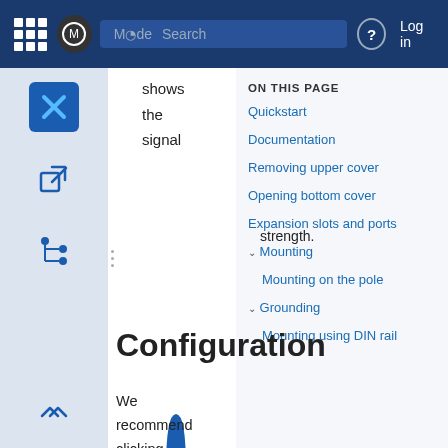Mode | Search | ? | Log in
shows the signal strength.
ON THIS PAGE
Quickstart
Documentation
Configuration
Removing upper cover
Opening bottom cover
Expansion slots and ports
Mounting
Mounting on the pole
Grounding
Mounting using DIN rail
We recommend clicking the "Check for updates" button